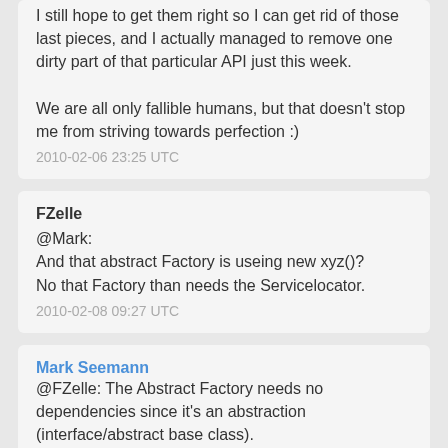I still hope to get them right so I can get rid of those last pieces, and I actually managed to remove one dirty part of that particular API just this week.

We are all only fallible humans, but that doesn't stop me from striving towards perfection :)
2010-02-06 23:25 UTC
FZelle
@Mark:
And that abstract Factory is useing new xyz()?
No that Factory than needs the Servicelocator.
2010-02-08 09:27 UTC
Mark Seemann
@FZelle: The Abstract Factory needs no dependencies since it's an abstraction (interface/abstract base class).

Concrete implementations of an Abstract Factory may very well need specific dependencies, which it can request via Constructor Injection - just like any other service.